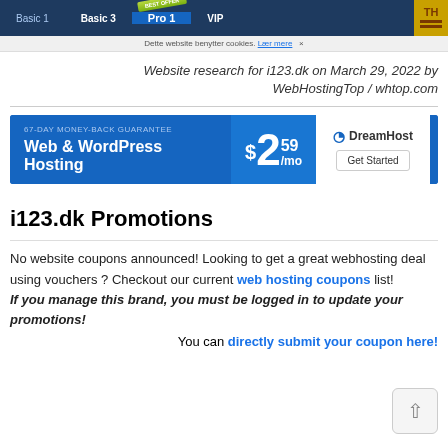[Figure (screenshot): Navigation bar with hosting plan tabs: Basic 1, Basic 3, Pro 1 (with Best Offer badge), VIP, and a logo icon on the right]
Dette website benytter cookies. Lær mere  ×
Website research for i123.dk on March 29, 2022 by WebHostingTop / whtop.com
[Figure (screenshot): DreamHost advertisement banner: Web & WordPress Hosting $2.59/mo with Get Started button]
i123.dk Promotions
No website coupons announced! Looking to get a great webhosting deal using vouchers ? Checkout our current web hosting coupons list!
If you manage this brand, you must be logged in to update your promotions!
You can directly submit your coupon here!